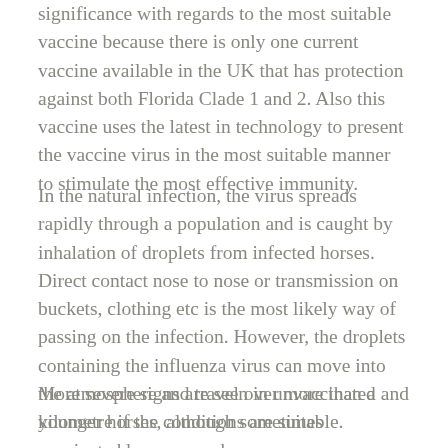significance with regards to the most suitable vaccine because there is only one current vaccine available in the UK that has protection against both Florida Clade 1 and 2. Also this vaccine uses the latest in technology to present the vaccine virus in the most suitable manner to stimulate the most effective immunity.
In the natural infection, the virus spreads rapidly through a population and is caught by inhalation of droplets from infected horses. Direct contact nose to nose or transmission on buckets, clothing etc is the most likely way of passing on the infection. However, the droplets containing the influenza virus can move into the atmosphere and travel over more than a kilometre if the conditions are suitable.
More severe signs are seen in unvaccinated and younger horses, although sometimes vaccinated horses can show signs. Influenza typically affects the upper and lower